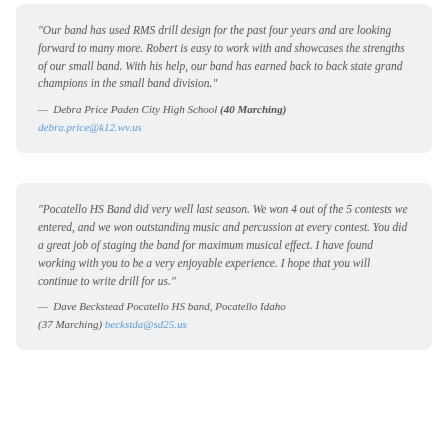"Our band has used RMS drill design for the past four years and are looking forward to many more. Robert is easy to work with and showcases the strengths of our small band. With his help, our band has earned back to back state grand champions in the small band division."
— Debra Price Paden City High School (40 Marching) debra.price@k12.wv.us
"Pocatello HS Band did very well last season. We won 4 out of the 5 contests we entered, and we won outstanding music and percussion at every contest. You did a great job of staging the band for maximum musical effect. I have found working with you to be a very enjoyable experience. I hope that you will continue to write drill for us."
— Dave Beckstead Pocatello HS band, Pocatello Idaho (37 Marching) beckstda@sd25.us